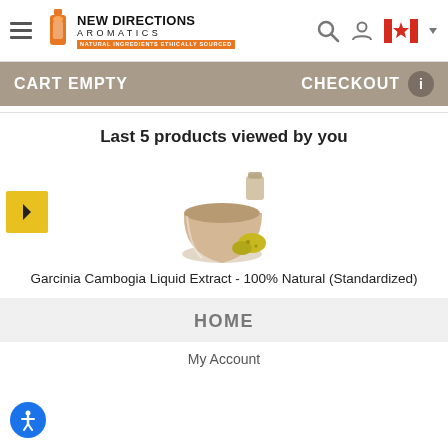New Directions Aromatics - Natural Ingredients Ethically Sourced
CART EMPTY    CHECKOUT
Last 5 products viewed by you
[Figure (photo): Product image of Garcinia Cambogia Liquid Extract in a glass with fruit]
Garcinia Cambogia Liquid Extract - 100% Natural (Standardized)
HOME
My Account